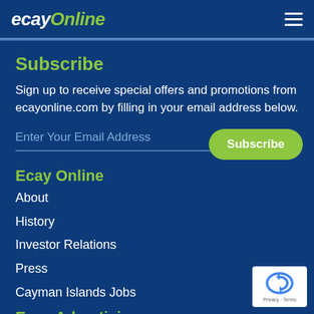ecayOnline
Subscribe
Sign up to receive special offers and promotions from ecayonline.com by filling in your email address below.
Enter Your Email Address  Subscribe
Ecay Online
About
History
Investor Relations
Press
Cayman Islands Jobs
Ecay Advertising
[Figure (logo): reCAPTCHA logo with Privacy and Terms text]